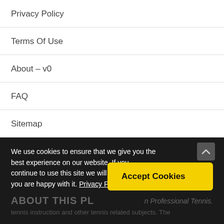Privacy Policy
Terms Of Use
About – v0
FAQ
Sitemap
We use cookies to ensure that we give you the best experience on our website. If you continue to use this site we will assume that you are happy with it. Privacy Policy
Accept Cookies
tennis instruction and other tennis related subjects. The